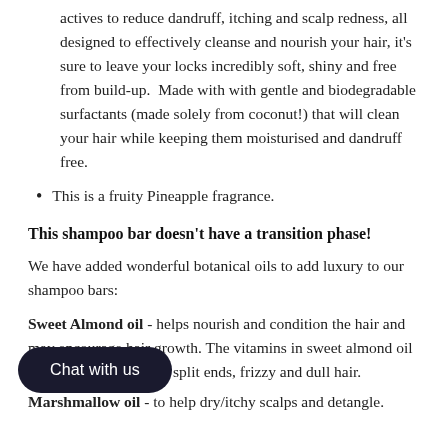actives to reduce dandruff, itching and scalp redness, all designed to effectively cleanse and nourish your hair, it's sure to leave your locks incredibly soft, shiny and free from build-up.  Made with with gentle and biodegradable surfactants (made solely from coconut!) that will clean your hair while keeping them moisturised and dandruff free.
This is a fruity Pineapple fragrance.
This shampoo bar doesn't have a transition phase!
We have added wonderful botanical oils to add luxury to our shampoo bars:
Sweet Almond oil - helps nourish and condition the hair and may encourage hair growth. The vitamins in sweet almond oil are p[artially obscured]ir loss, split ends, frizzy and dull hair.
Marshmallow oil - to help dry/itchy scalps and detangle.